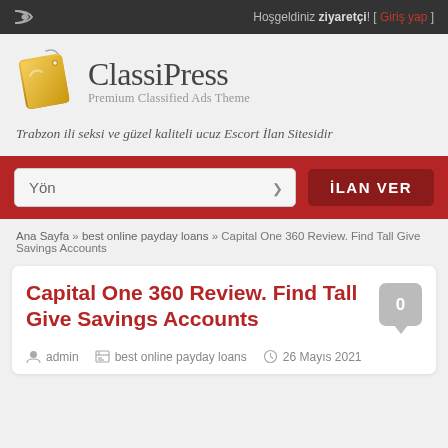Hoşgeldiniz ziyaretçi! [ Giriş yap ]
[Figure (logo): ClassiPress logo with price tag icon and text 'ClassiPress Premium Classified Ads Theme']
Trabzon ili seksi ve güzel kaliteli ucuz Escort İlan Sitesidir
Yön  İLAN VER
Ana Sayfa » best online payday loans » Capital One 360 Review. Find Tall Give Savings Accounts
Capital One 360 Review. Find Tall Give Savings Accounts
admin  best online payday loans  26 Mayıs 2021